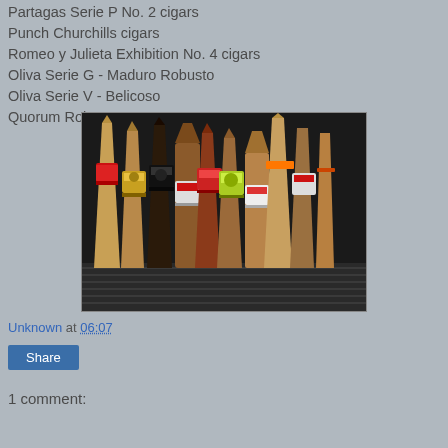Partagas Serie P No. 2 cigars
Punch Churchills cigars
Romeo y Julieta Exhibition No. 4 cigars
Oliva Serie G - Maduro Robusto
Oliva Serie V - Belicoso
Quorum Robusto
[Figure (photo): A photo of approximately 9-10 cigars standing upright side by side, showing various band labels including red, black, yellow and orange bands, with different shades of brown wrappers, photographed against a dark background.]
Unknown at 06:07
Share
1 comment: